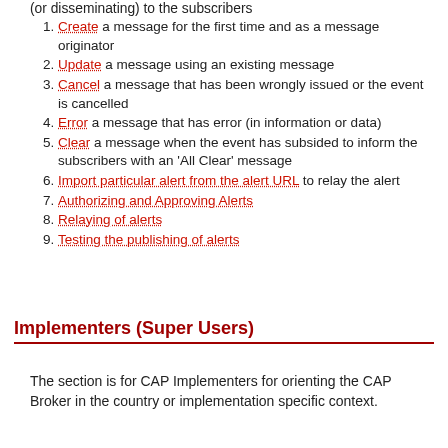(or disseminating) to the subscribers
Create a message for the first time and as a message originator
Update a message using an existing message
Cancel a message that has been wrongly issued or the event is cancelled
Error a message that has error (in information or data)
Clear a message when the event has subsided to inform the subscribers with an 'All Clear' message
Import particular alert from the alert URL to relay the alert
Authorizing and Approving Alerts
Relaying of alerts
Testing the publishing of alerts
Implementers (Super Users)
The section is for CAP Implementers for orienting the CAP Broker in the country or implementation specific context.